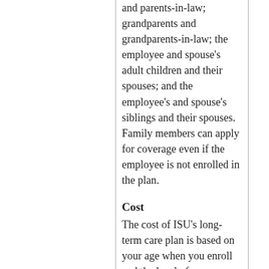and parents-in-law; grandparents and grandparents-in-law; the employee and spouse's adult children and their spouses; and the employee's and spouse's siblings and their spouses. Family members can apply for coverage even if the employee is not enrolled in the plan.
Cost
The cost of ISU's long-term care plan is based on your age when you enroll and the level of coverage you desire. The premium is locked in when you enroll, and will never go up unless you decide to increase your